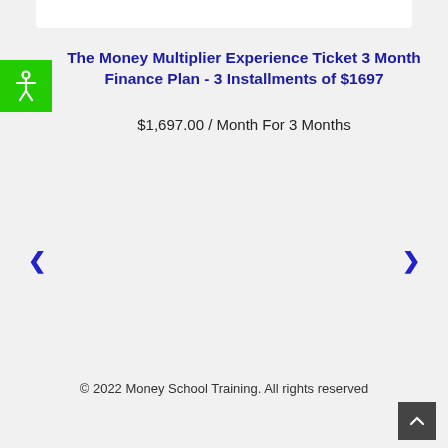The Money Multiplier Experience Ticket 3 Month Finance Plan - 3 Installments of $1697
$1,697.00 / Month For 3 Months
© 2022 Money School Training. All rights reserved